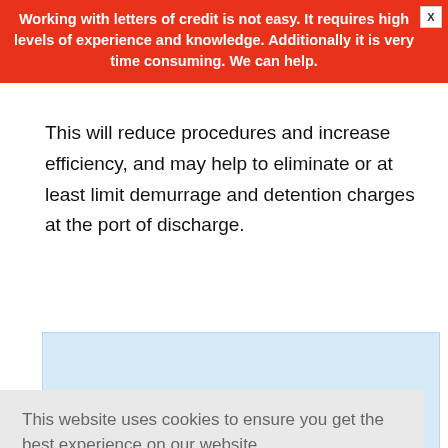Working with letters of credit is not easy. It requires high levels of experience and knowledge. Additionally it is very time consuming. We can help.
This will reduce procedures and increase efficiency, and may help to eliminate or at least limit demurrage and detention charges at the port of discharge.
[Figure (other): Partially visible blue-tinted box with title 'Advantages of a Sea Waybill']
This website uses cookies to ensure you get the best experience on our website.
Learn more
Got it!